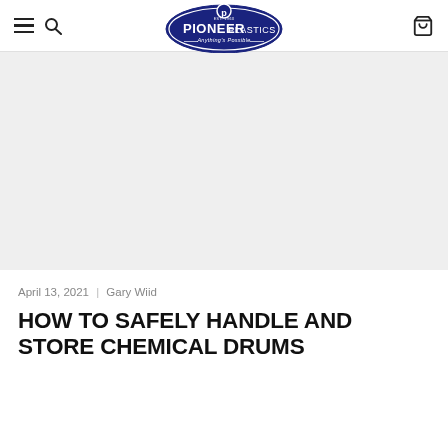Pioneer Plastics — Anything's Possible
[Figure (illustration): Large grey hero image placeholder area, no visible content]
April 13, 2021 | Gary Wiid
HOW TO SAFELY HANDLE AND STORE CHEMICAL DRUMS